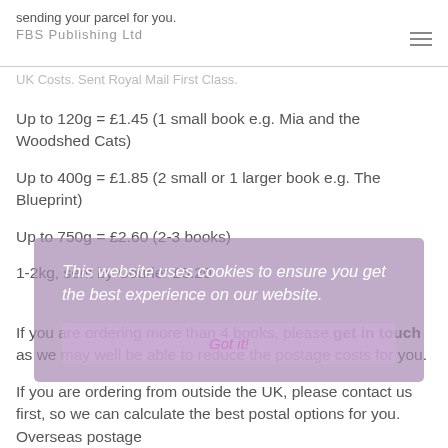sending your parcel for you.
FBS Publishing Ltd
UK Costs. Sent Royal Mail First Class.
Up to 120g = £1.45 (1 small book e.g. Mia and the Woodshed Cats)
Up to 400g = £1.85 (2 small or 1 larger book e.g. The Blueprint)
Up to 750g = £2.60 (2-3 books)
1-2kg, sent by Courier £5.20
If you are ordering more than 4 books, please get in touch as we may well be able to reduce the postage costs for you.
If you are ordering from outside the UK, please contact us first, so we can calculate the best postal options for you. Overseas postage